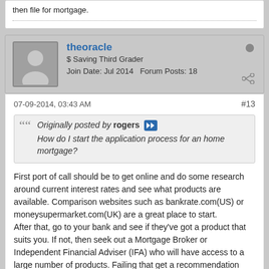then file for mortgage.
theoracle
$ Saving Third Grader
Join Date: Jul 2014    Forum Posts: 18
07-09-2014, 03:43 AM
#13
Originally posted by rogers
How do I start the application process for an home mortgage?
First port of call should be to get online and do some research around current interest rates and see what products are available. Comparison websites such as bankrate.com(US) or moneysupermarket.com(UK) are a great place to start.
After that, go to your bank and see if they've got a product that suits you. If not, then seek out a Mortgage Broker or Independent Financial Adviser (IFA) who will have access to a large number of products. Failing that get a recommendation from your realtor/estate agent.